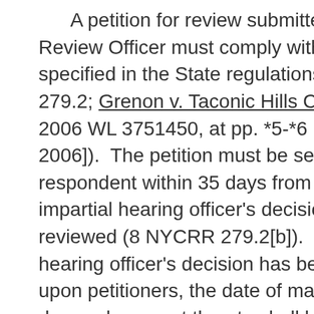A petition for review submitted to a State Review Officer must comply with the timelines specified in the State regulations (see 8 NYCRR 279.2; Grenon v. Taconic Hills Cent. Sch. Dist., 2006 WL 3751450, at pp. *5-*6 [N.D.N.Y. Dec. 19, 2006]).  The petition must be served upon the respondent within 35 days from the date of the impartial hearing officer's decision sought to be reviewed (8 NYCRR 279.2[b]).  If the impartial hearing officer's decision has been served by mail upon petitioners, the date of mailing and the four days subsequent thereto shall be excluded in computing the period (id.).  A State Review Officer, in his or her sole discretion, may excuse a failure to timely seek review within the time specified for good cause shown (8 NYCRR 279.13).